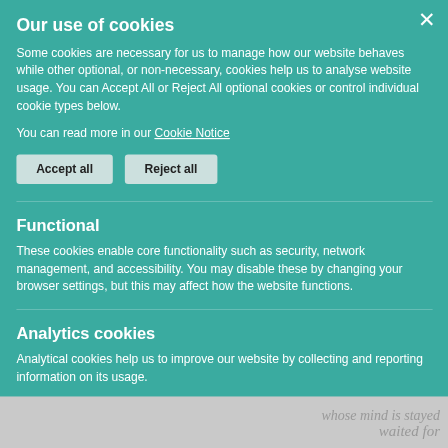salvation with God anpoint for wells and bulwarks.
th may
whose mind is stayed
just.
waited for
Our use of cookies
Some cookies are necessary for us to manage how our website behaves while other optional, or non-necessary, cookies help us to analyse website usage. You can Accept All or Reject All optional cookies or control individual cookie types below.
You can read more in our Cookie Notice
Accept all
Reject all
Functional
These cookies enable core functionality such as security, network management, and accessibility. You may disable these by changing your browser settings, but this may affect how the website functions.
Analytics cookies
Analytical cookies help us to improve our website by collecting and reporting information on its usage.